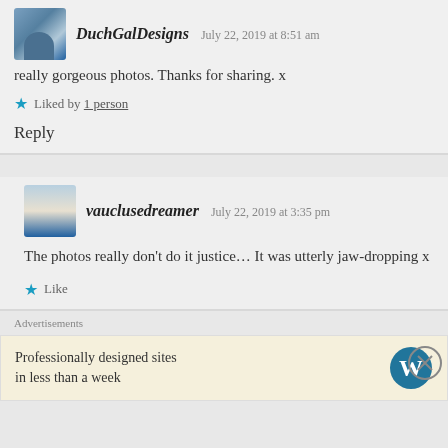DuchGalDesigns   July 22, 2019 at 8:51 am
really gorgeous photos. Thanks for sharing. x
★ Liked by 1 person
Reply
vauclusedreamer   July 22, 2019 at 3:35 pm
The photos really don't do it justice… It was utterly jaw-dropping x
★ Like
Advertisements
Professionally designed sites in less than a week